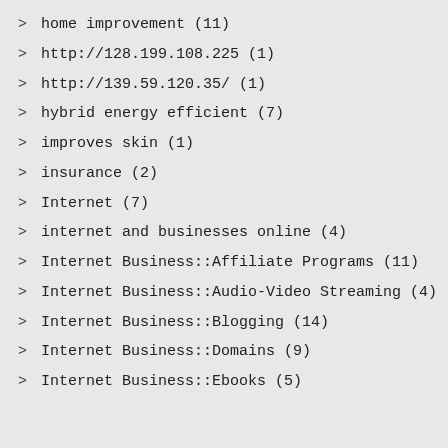home improvement (11)
http://128.199.108.225 (1)
http://139.59.120.35/ (1)
hybrid energy efficient (7)
improves skin (1)
insurance (2)
Internet (7)
internet and businesses online (4)
Internet Business::Affiliate Programs (11)
Internet Business::Audio-Video Streaming (4)
Internet Business::Blogging (14)
Internet Business::Domains (9)
Internet Business::Ebooks (5)